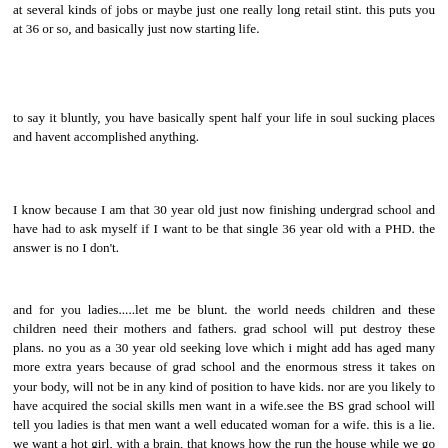at several kinds of jobs or maybe just one really long retail stint. this puts you at 36 or so, and basically just now starting life.
to say it bluntly, you have basically spent half your life in soul sucking places and havent accomplished anything.
I know because I am that 30 year old just now finishing undergrad school and have had to ask myself if I want to be that single 36 year old with a PHD. the answer is no I don't.
and for you ladies.....let me be blunt. the world needs children and these children need their mothers and fathers. grad school will put destroy these plans. no you as a 30 year old seeking love which i might add has aged many more extra years because of grad school and the enormous stress it takes on your body, will not be in any kind of position to have kids. nor are you likely to have acquired the social skills men want in a wife.see the BS grad school will tell you ladies is that men want a well educated woman for a wife. this is a lie. we want a hot girl, with a brain, that knows how the run the house while we go out and take care of the bills. and of course the stress of